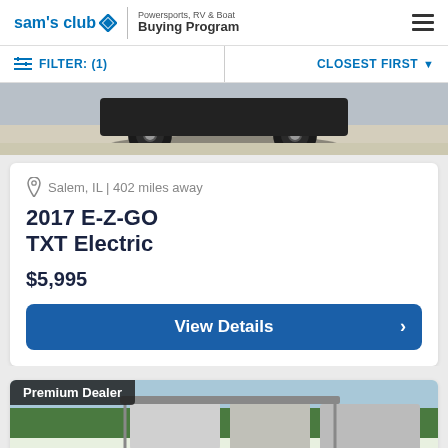sam's club | Powersports, RV & Boat Buying Program
FILTER: (1)
CLOSEST FIRST
[Figure (photo): Partial view of a golf cart or vehicle, showing wheels/tires on gravel ground]
Salem, IL | 402 miles away
2017 E-Z-GO TXT Electric
$5,995
View Details
[Figure (photo): Bottom of page: Premium Dealer badge with partial image of golf carts under a canopy in a dealer lot]